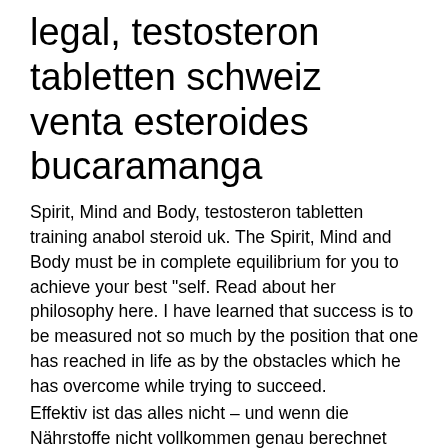legal, testosteron tabletten schweiz venta esteroides bucaramanga
Spirit, Mind and Body, testosteron tabletten training anabol steroid uk. The Spirit, Mind and Body must be in complete equilibrium for you to achieve your best "self. Read about her philosophy here. I have learned that success is to be measured not so much by the position that one has reached in life as by the obstacles which he has overcome while trying to succeed.
Effektiv ist das alles nicht – und wenn die Nährstoffe nicht vollkommen genau berechnet werden, misslingen entweder der Muskelaufbau oder der Fettabbau gänzlich, testosteron tabletten training anabol steroid uk.
Das sind kleine Tabletten, die jeweils 0,85 g